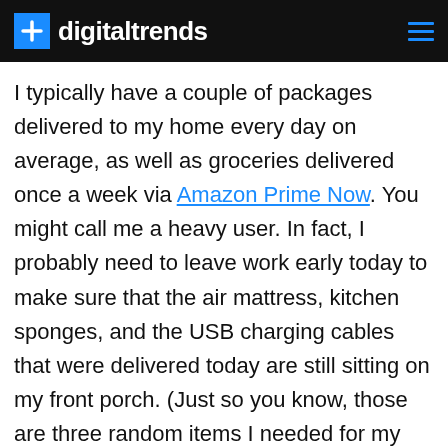digitaltrends
I typically have a couple of packages delivered to my home every day on average, as well as groceries delivered once a week via Amazon Prime Now. You might call me a heavy user. In fact, I probably need to leave work early today to make sure that the air mattress, kitchen sponges, and the USB charging cables that were delivered today are still sitting on my front porch. (Just so you know, those are three random items I needed for my home and are in no way related.)